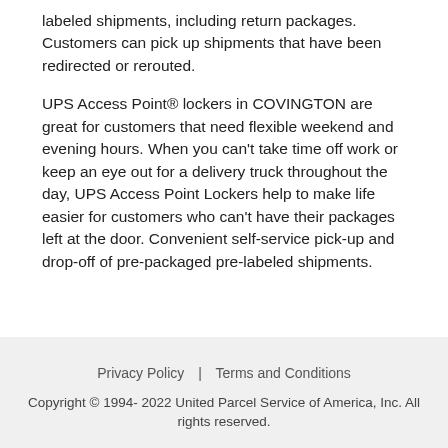labeled shipments, including return packages. Customers can pick up shipments that have been redirected or rerouted.
UPS Access Point® lockers in COVINGTON are great for customers that need flexible weekend and evening hours. When you can't take time off work or keep an eye out for a delivery truck throughout the day, UPS Access Point Lockers help to make life easier for customers who can't have their packages left at the door. Convenient self-service pick-up and drop-off of pre-packaged pre-labeled shipments.
Privacy Policy | Terms and Conditions
Copyright © 1994- 2022 United Parcel Service of America, Inc. All rights reserved.